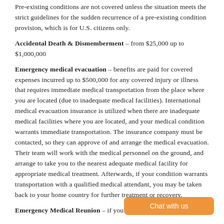Pre-existing conditions are not covered unless the situation meets the strict guidelines for the sudden recurrence of a pre-existing condition provision, which is for U.S. citizens only.
Accidental Death & Dismemberment – from $25,000 up to $1,000,000
Emergency medical evacuation – benefits are paid for covered expenses incurred up to $500,000 for any covered injury or illness that requires immediate medical transportation from the place where you are located (due to inadequate medical facilities). International medical evacuation insurance is utilized when there are inadequate medical facilities where you are located, and your medical condition warrants immediate transportation. The insurance company must be contacted, so they can approve of and arrange the medical evacuation. Their team will work with the medical personnel on the ground, and arrange to take you to the nearest adequate medical facility for appropriate medical treatment. Afterwards, if your condition warrants transportation with a qualified medical attendant, you may be taken back to your home country for further treatment or recovery.
Emergency Medical Reunion – if you were to have a medical